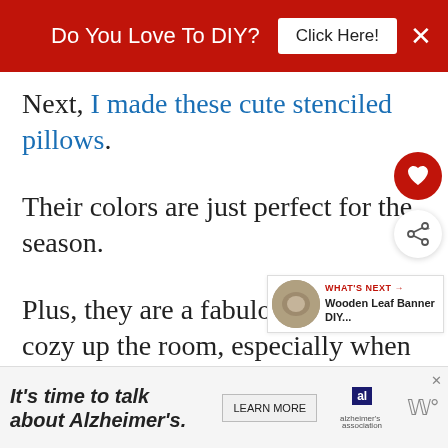Do You Love To DIY? [Click Here!] ×
Next, I made these cute stenciled pillows.
Their colors are just perfect for the season.
Plus, they are a fabulous way to cozy up the room, especially when you are hugging one, curled up in front of a fireplace with a cup of something hot in your hands.
It's time to talk about Alzheimer's. [LEARN MORE]